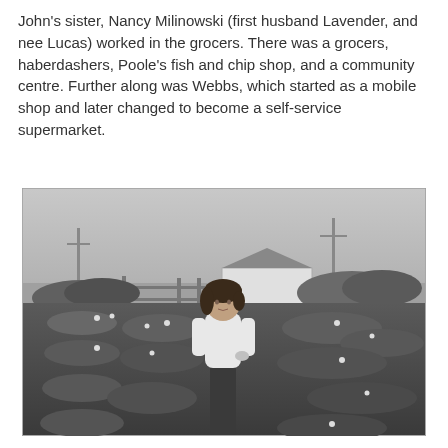John's sister, Nancy Milinowski (first husband Lavender, and nee Lucas) worked in the grocers. There was a grocers, haberdashers, Poole's fish and chip shop, and a community centre. Further along was Webbs, which started as a mobile shop and later changed to become a self-service supermarket.
[Figure (photo): Black and white photograph of a young woman standing in a garden or allotment with low-growing plants (possibly potatoes in flower). She is wearing a white top and dark trousers. Behind her is a wooden fence/gate, a small white building with a dark roof, bushes/hedgerows, telegraph poles, and an overcast sky.]